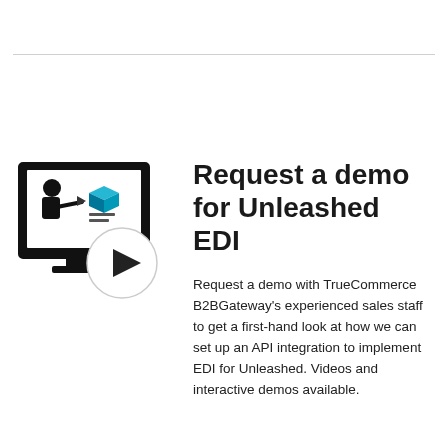[Figure (illustration): Icon of a person presenting at a computer monitor with a play button overlay circle, representing a demo video for Unleashed EDI]
Request a demo for Unleashed EDI
Request a demo with TrueCommerce B2BGateway's experienced sales staff to get a first-hand look at how we can set up an API integration to implement EDI for Unleashed. Videos and interactive demos available.